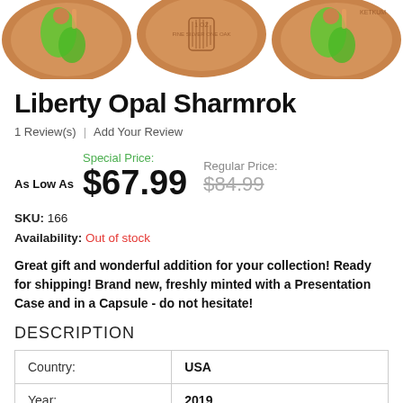[Figure (photo): Three copper-colored coins with green shamrock Liberty design shown in a row at the top of the page]
Liberty Opal Sharmrok
1 Review(s) | Add Your Review
As Low As  Special Price: $67.99  Regular Price: $84.99
SKU: 166
Availability: Out of stock
Great gift and wonderful addition for your collection! Ready for shipping! Brand new, freshly minted with a Presentation Case and in a Capsule - do not hesitate!
DESCRIPTION
| Country: | USA |
| Year: | 2019 |